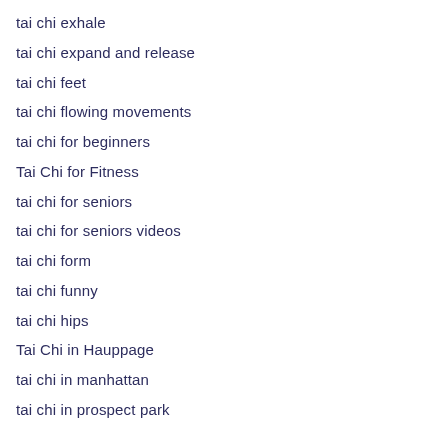tai chi exhale
tai chi expand and release
tai chi feet
tai chi flowing movements
tai chi for beginners
Tai Chi for Fitness
tai chi for seniors
tai chi for seniors videos
tai chi form
tai chi funny
tai chi hips
Tai Chi in Hauppage
tai chi in manhattan
tai chi in prospect park